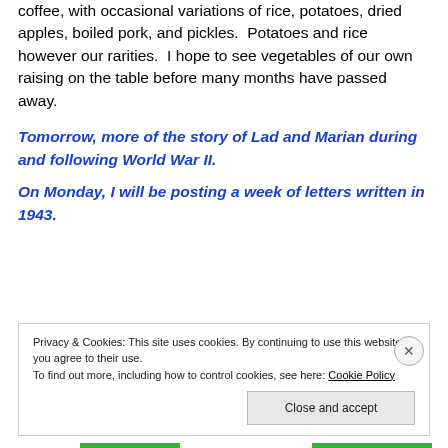coffee, with occasional variations of rice, potatoes, dried apples, boiled pork, and pickles.  Potatoes and rice however our rarities.  I hope to see vegetables of our own raising on the table before many months have passed away.
Tomorrow, more of the story of Lad and Marian during and following World War II.
On Monday, I will be posting a week of letters written in 1943.
Privacy & Cookies: This site uses cookies. By continuing to use this website, you agree to their use.
To find out more, including how to control cookies, see here: Cookie Policy